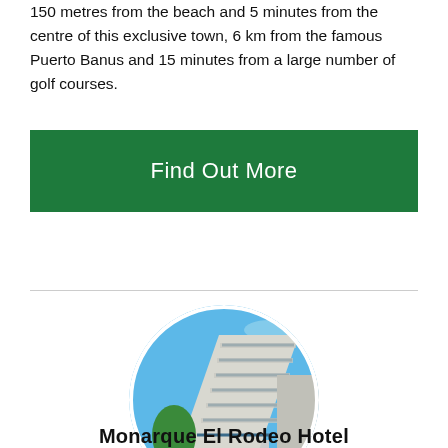150 metres from the beach and 5 minutes from the centre of this exclusive town, 6 km from the famous Puerto Banus and 15 minutes from a large number of golf courses.
Find Out More
[Figure (photo): Circular cropped photo of a modern multi-storey hotel building with white and blue balconies against a clear blue sky, with trees and street-level shops visible]
Monarque El Rodeo Hotel